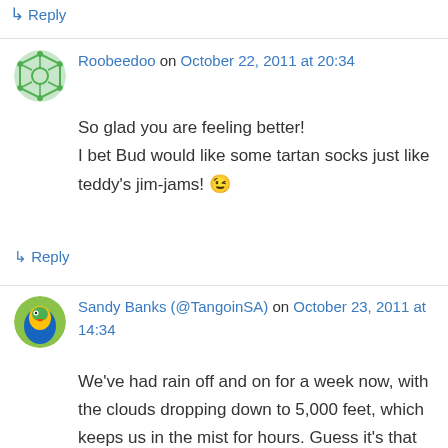↳ Reply
Roobeedoo on October 22, 2011 at 20:34
So glad you are feeling better!
I bet Bud would like some tartan socks just like teddy's jim-jams! 😉
↳ Reply
Sandy Banks (@TangoinSA) on October 23, 2011 at 14:34
We've had rain off and on for a week now, with the clouds dropping down to 5,000 feet, which keeps us in the mist for hours. Guess it's that time of year… glad your temperatures are staying down as well.